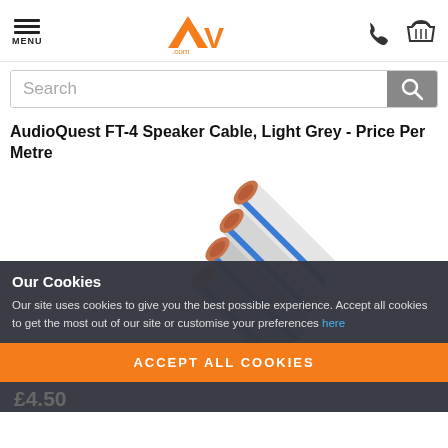AV.com — MENU / Search / Phone / Basket
AudioQuest FT-4 Speaker Cable, Light Grey - Price Per Metre
[Figure (photo): Speaker cable product photo showing AudioQuest FT-4 speaker cables in light grey with blue stripe and exposed copper conductors]
Our Cookies
Our site uses cookies to give you the best possible experience. Accept all cookies to get the most out of our site or customise your preferences here
ACCEPT ALL COOKIES
£4.50